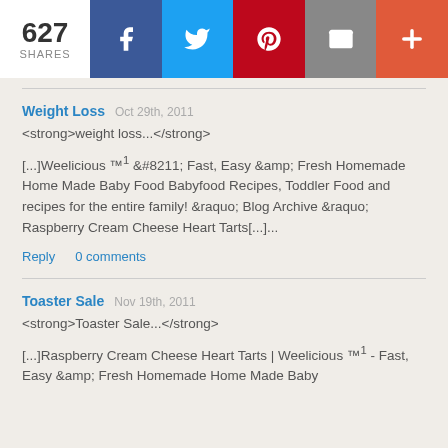[Figure (infographic): Social share bar showing 627 shares with buttons for Facebook, Twitter, Pinterest, Email, and More (+)]
Weight Loss  Oct 29th, 2011
<strong>weight loss...</strong>
[...]Weelicious ™¹ &#8211; Fast, Easy &amp; Fresh Homemade Home Made Baby Food Babyfood Recipes, Toddler Food and recipes for the entire family! &raquo; Blog Archive &raquo; Raspberry Cream Cheese Heart Tarts[...]...
Reply  0 comments
Toaster Sale  Nov 19th, 2011
<strong>Toaster Sale...</strong>
[...]Raspberry Cream Cheese Heart Tarts | Weelicious ™¹ - Fast, Easy &amp; Fresh Homemade Home Made Baby